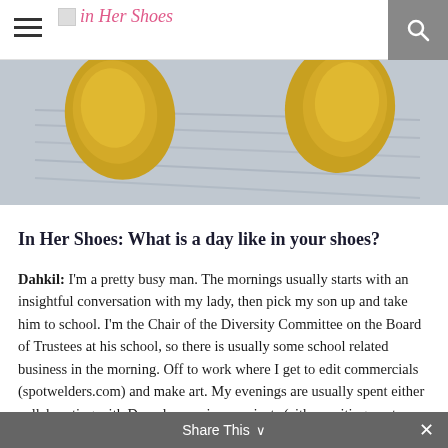In Her Shoes
[Figure (photo): Photo showing yellow shoes/feet on sand or pavement, viewed from above]
In Her Shoes: What is a day like in your shoes?
Dahkil: I'm a pretty busy man. The mornings usually starts with an insightful conversation with my lady, then pick my son up and take him to school. I'm the Chair of the Diversity Committee on the Board of Trustees at his school, so there is usually some school related business in the morning. Off to work where I get to edit commercials (spotwelders.com) and make art. My evenings are usually spent either collaborating with Daoud on various projects (either writing or story development), Kuntaw training (Filipino martial art), or watching movies (have to stay studying).